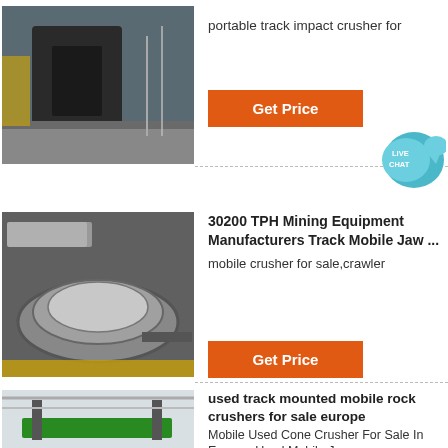[Figure (photo): Industrial machinery in a factory setting, appears to be a crusher or press machine with gravel/stone on the floor]
portable track impact crusher for
Get Price
[Figure (photo): Large metal ring/gear components on a factory floor, likely cone crusher parts]
30200 TPH Mining Equipment Manufacturers Track Mobile Jaw ...
mobile crusher for sale,crawler
Get Price
[Figure (photo): Large industrial machine (mobile crusher/conveyor) inside a warehouse/factory building with green equipment visible]
used track mounted mobile rock crushers for sale europe
Mobile Used Cone Crusher For Sale In Europe. Used Mobile Jaw